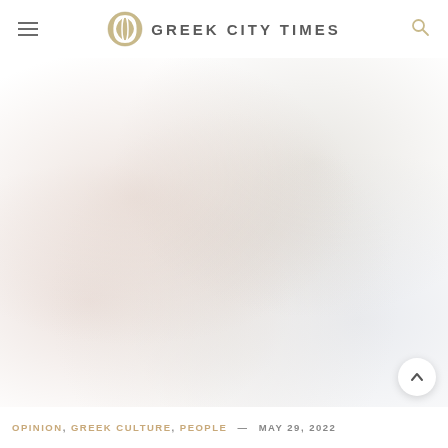GREEK CITY TIMES
[Figure (photo): A blurred/soft-focus photograph used as hero image for an article, showing indistinct warm and cool tones with a faded, hazy appearance.]
OPINION, GREEK CULTURE, PEOPLE — MAY 29, 2022